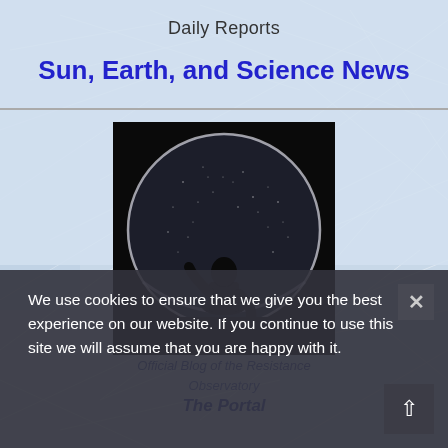Daily Reports
Sun, Earth, and Science News
[Figure (photo): Silhouette of a person standing in front of a large circular portal/sphere filled with a starry night sky, against a black background.]
Official Blog of the Resistance
Observatory
The Portal
We use cookies to ensure that we give you the best experience on our website. If you continue to use this site we will assume that you are happy with it.